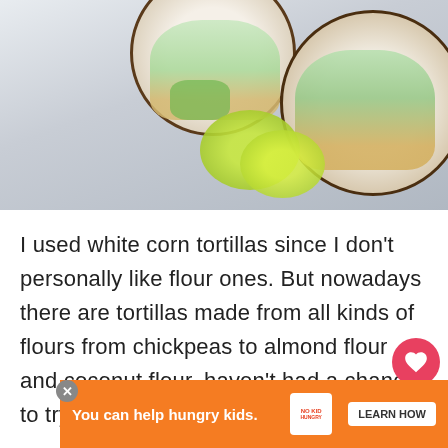[Figure (photo): Overhead photo of fish tacos on flour tortillas on round dark-rimmed plates, garnished with shredded cabbage and green herbs, with lime wedges on the side, on a light grey background.]
I used white corn tortillas since I don't personally like flour ones. But nowadays there are tortillas made from all kinds of flours from chickpeas to almond flour and coconut flour. haven't had a chance to try them all yet and te... ble... la
[Figure (screenshot): Ad banner: orange background with text 'You can help hungry kids.' with No Kid Hungry logo and 'LEARN HOW' button. Close (X) button in upper right corner of ad.]